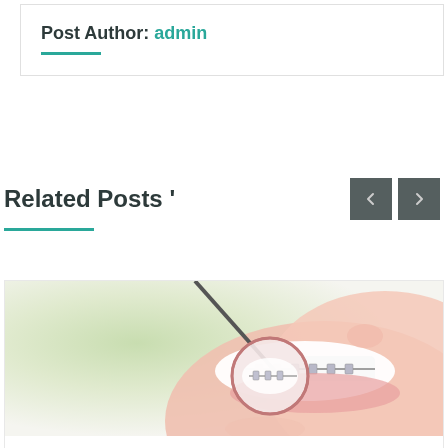Post Author: admin
Related Posts '
[Figure (photo): Close-up photo of a smiling person with dental braces, with a dental mirror showing teeth reflection]
30 MAY
Why Are Cosmetic Dental Treatments Popular?